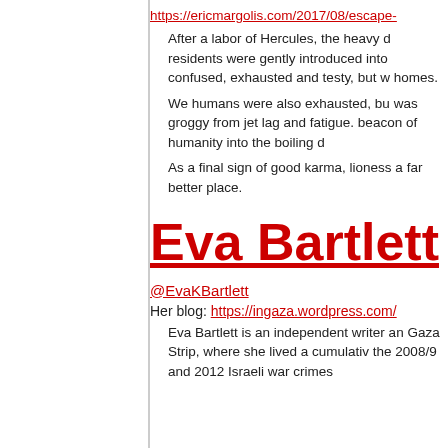https://ericmargolis.com/2017/08/escape-
After a labor of Hercules, the heavy d residents were gently introduced into confused, exhausted and testy, but w homes.
We humans were also exhausted, bu was groggy from jet lag and fatigue. beacon of humanity into the boiling d
As a final sign of good karma, lioness a far better place.
Eva Bartlett
@EvaKBartlett
Her blog: https://ingaza.wordpress.com/
Eva Bartlett is an independent writer an Gaza Strip, where she lived a cumulativ the 2008/9 and 2012 Israeli war crimes